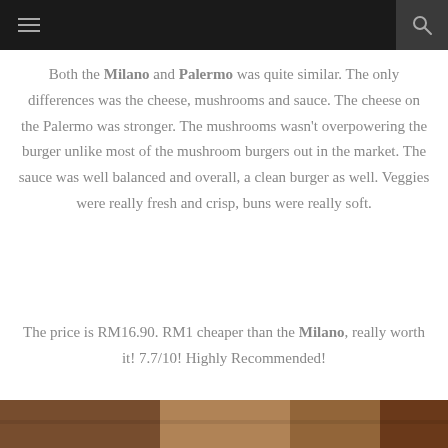≡  🔍
Both the Milano and Palermo was quite similar. The only differences was the cheese, mushrooms and sauce. The cheese on the Palermo was stronger. The mushrooms wasn't overpowering the burger unlike most of the mushroom burgers out in the market. The sauce was well balanced and overall, a clean burger as well. Veggies were really fresh and crisp, buns were really soft.
The price is RM16.90. RM1 cheaper than the Milano, really worth it! 7.7/10! Highly Recommended!
[Figure (photo): Bottom strip showing a restaurant/food setting photo]